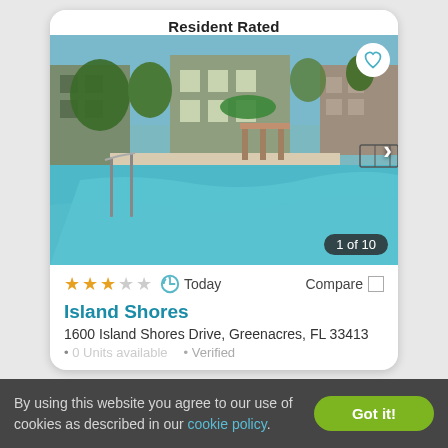Resident Rated
[Figure (photo): Outdoor swimming pool with turquoise water, pool railing in foreground, apartment buildings and playground equipment visible in background, surrounded by trees.]
1 of 10
★★★☆☆  Today  Compare
Island Shores
1600 Island Shores Drive, Greenacres, FL 33413
• 0 Units available  • Verified
By using this website you agree to our use of cookies as described in our cookie policy.